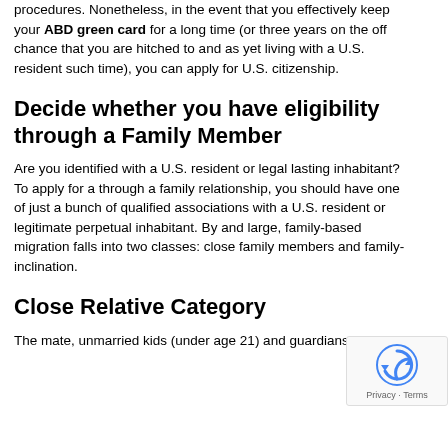procedures. Nonetheless, in the event that you effectively keep your ABD green card for a long time (or three years on the off chance that you are hitched to and as yet living with a U.S. resident such time), you can apply for U.S. citizenship.
Decide whether you have eligibility through a Family Member
Are you identified with a U.S. resident or legal lasting inhabitant? To apply for a through a family relationship, you should have one of just a bunch of qualified associations with a U.S. resident or legitimate perpetual inhabitant. By and large, family-based migration falls into two classes: close family members and family-inclination.
Close Relative Category
The mate, unmarried kids (under age 21) and guardians of